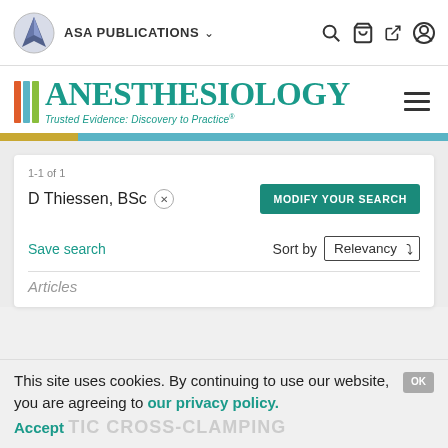ASA PUBLICATIONS
[Figure (logo): Anesthesiology journal logo with colored vertical bars and teal text reading ANESTHESIOLOGY, tagline: Trusted Evidence: Discovery to Practice]
1-1 of 1
D Thiessen, BSc ×
MODIFY YOUR SEARCH
Save search
Sort by Relevancy
Articles
This site uses cookies. By continuing to use our website, you are agreeing to our privacy policy. Accept TIC CROSS-CLAMPING